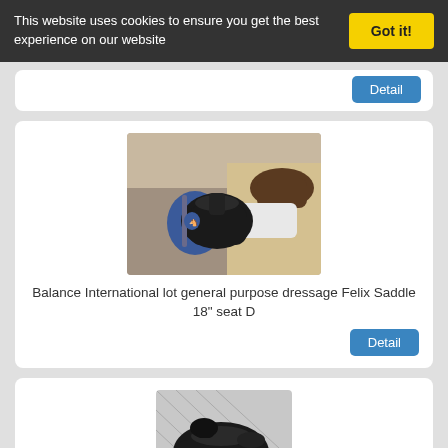This website uses cookies to ensure you get the best experience on our website
Got it!
[Figure (photo): Horse saddle product listing image showing multiple saddles outdoors]
Balance International lot general purpose dressage Felix Saddle 18" seat D
Detail
[Figure (photo): Black dressage saddle on white pad against lattice background]
Balance International Nexus Dressage Saddle